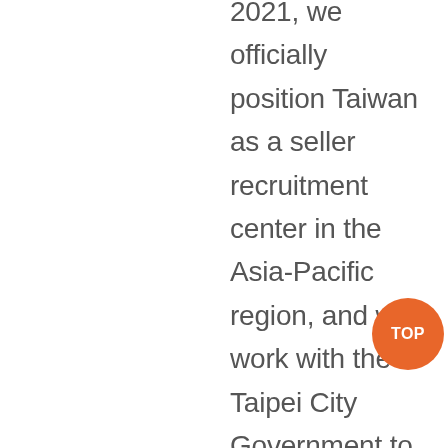2021, we officially position Taiwan as a seller recruitment center in the Asia-Pacific region, and will work with the Taipei City Government to promote "T21 cross-border e-commerce joint egg hatching plan", we look forward to combining Newegg's global resources and platform advantages to assist Taiwan's high-quality sellers with export